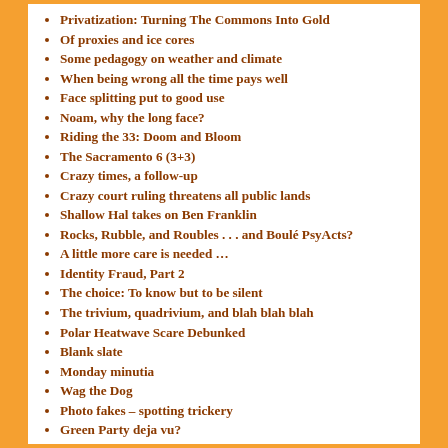Privatization: Turning The Commons Into Gold
Of proxies and ice cores
Some pedagogy on weather and climate
When being wrong all the time pays well
Face splitting put to good use
Noam, why the long face?
Riding the 33: Doom and Bloom
The Sacramento 6 (3+3)
Crazy times, a follow-up
Crazy court ruling threatens all public lands
Shallow Hal takes on Ben Franklin
Rocks, Rubble, and Roubles . . . and Boulé PsyActs?
A little more care is needed …
Identity Fraud, Part 2
The choice: To know but to be silent
The trivium, quadrivium, and blah blah blah
Polar Heatwave Scare Debunked
Blank slate
Monday minutia
Wag the Dog
Photo fakes – spotting trickery
Green Party deja vu?
In defense of face splitting …
Not much to say
More Twaddle